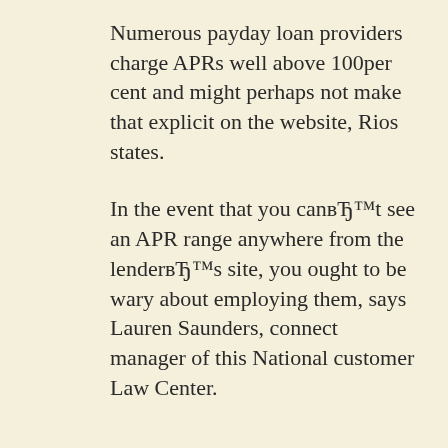Numerous payday loan providers charge APRs well above 100per cent and might perhaps not make that explicit on the website, Rios states.
In the event that you canвЂ™t see an APR range anywhere from the lenderвЂ™s site, you ought to be wary about employing them, says Lauren Saunders, connect manager of this National customer Law Center.